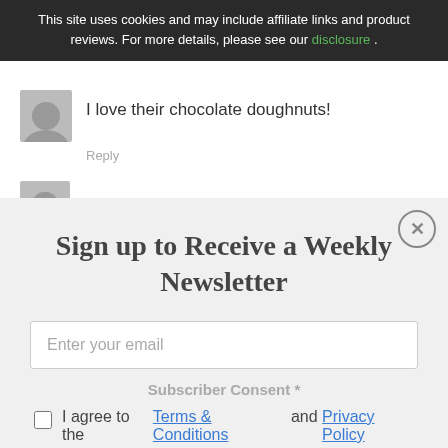This site uses cookies and may include affiliate links and product reviews. For more details, please see our disclosure .
I love their chocolate doughnuts!
Reply
Dana Matthews   March 27, 2018
Sign up to Receive a Weekly Newsletter
Enter your email
Subscriber Consent *
I agree to the Terms & Conditions and Privacy Policy
Subscribe